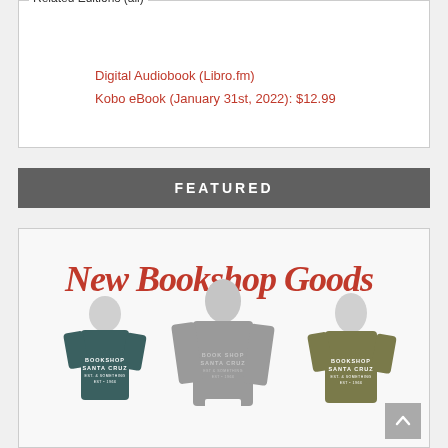Related Editions (all)
Digital Audiobook (Libro.fm)
Kobo eBook (January 31st, 2022): $12.99
FEATURED
[Figure (photo): Promotional image for New Bookshop Goods featuring three mannequins wearing Bookshop Santa Cruz branded apparel: a dark teal t-shirt, a gray long-sleeve shirt, and an olive/green t-shirt. Script text at the top reads 'New Bookshop Goods' in red.]